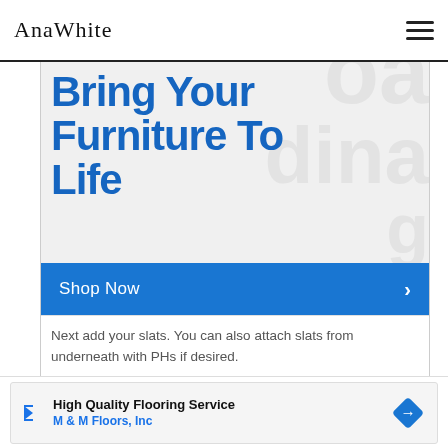AnaWhite
[Figure (screenshot): Advertisement banner: 'Bring Your Furniture To Life' in large blue bold text on light gray background with a 'Shop Now' blue button with right arrow]
Next add your slats. You can also attach slats from underneath with PHs if desired.
[Figure (screenshot): Advertisement: 'High Quality Flooring Service' by 'M & M Floors, Inc' with navigation icon and blue diamond logo]